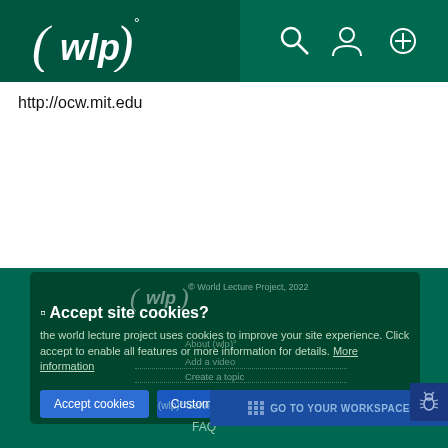[Figure (logo): WLP (World Lecture Project) logo in white on dark green navigation bar]
http://ocw.mit.edu
[Figure (screenshot): Cookie consent dialog overlay on World Lecture Project website footer. Contains WLP logo, copyright 2022, Accept site cookies? title, body text about cookies, Accept cookies and Customise Cookies buttons, footer links About (wlp), Add a video, Create a topic, (wlp) Services, FAQ, GO TO YOUR WORKSPACE bar, and bug icon.]
© World Lecture Project, 2022
🔲 Accept site cookies?
the world lecture project uses cookies to improve your site experience. Click accept to enable all features or more information for details. More information
Accept cookies
Customise Cookies
About (wlp)°
Add a video
Create a topic
(wlp)° Services
FAQ
GO TO YOUR WORKSPACE